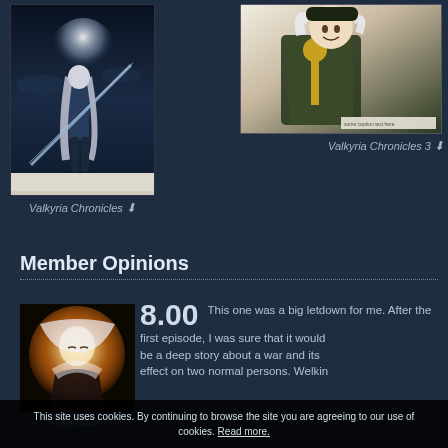[Figure (illustration): Valkyria Chronicles game art – anime character with white hair holding a large sword against a dark sky with moon]
Valkyria Chronicles ⬇
[Figure (illustration): Valkyria Chronicles 3 anime art – smiling white-haired military character in uniform]
Valkyria Chronicles 3 ⬇
Member Opinions
[Figure (illustration): HurtHattori user avatar – anime character with glowing white hair]
8.00  This one was a big letdown for me. After the first episode, I was sure that it would be a deep story about a war and its effect on two normal persons. Welkin
This site uses cookies. By continuing to browse the site you are agreeing to our use of cookies. Read more.